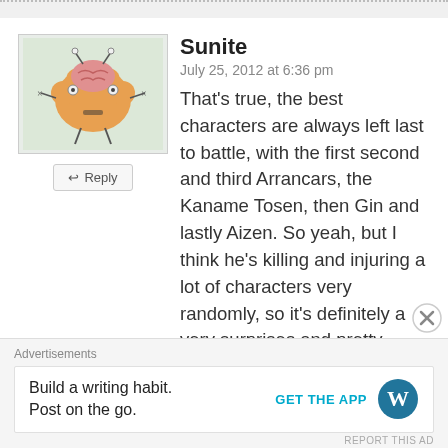[Figure (illustration): Cartoon avatar of a brain-like orange creature with pink top and stick legs on a light green background]
Sunite
July 25, 2012 at 6:36 pm
That's true, the best characters are always left last to battle, with the first second and third Arrancars, the Kaname Tosen, then Gin and lastly Aizen. So yeah, but I think he's killing and injuring a lot of characters very randomly, so it's definitely a very surprises and pretty exciting. I'd hope for somehow there to be a clash of something between the Leader and Zaraki, to see how much powerful he is compared to Zaraki, but then something happens that he has to
Advertisements
Build a writing habit.
Post on the go.
GET THE APP
[Figure (logo): WordPress logo — blue circle with W]